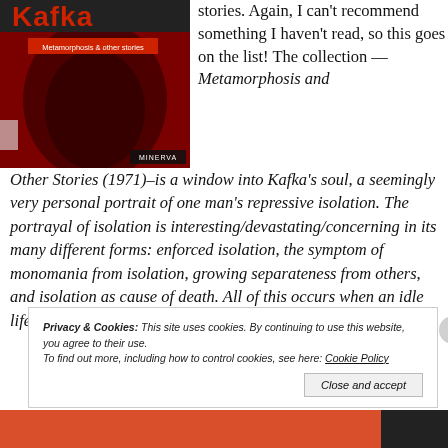[Figure (photo): Book cover of Kafka: Metamorphosis & other stories, Minerva edition, with red cover showing a dark shadowy face]
stories. Again, I can't recommend something I haven't read, so this goes on the list! The collection —Metamorphosis and Other Stories (1971)–is a window into Kafka's soul, a seemingly very personal portrait of one man's repressive isolation. The portrayal of isolation is interesting/devastating/concerning in its many different forms: enforced isolation, the symptom of monomania from isolation, growing separateness from others, and isolation as cause of death. All of this occurs when an idle life is
Privacy & Cookies: This site uses cookies. By continuing to use this website, you agree to their use.
To find out more, including how to control cookies, see here: Cookie Policy
Close and accept